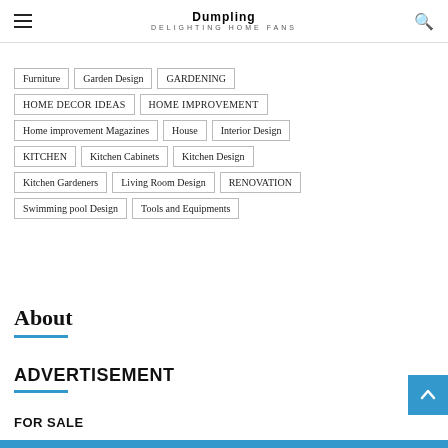Dumpling DELIGHTING HOME FANS
Furniture
Garden Design
GARDENING
HOME DECOR IDEAS
HOME IMPROVEMENT
Home improvement Magazines
House
Interior Design
KITCHEN
Kitchen Cabinets
Kitchen Design
Kitchen Gardeners
Living Room Design
RENOVATION
Swimming pool Design
Tools and Equipments
About
ADVERTISEMENT
FOR SALE